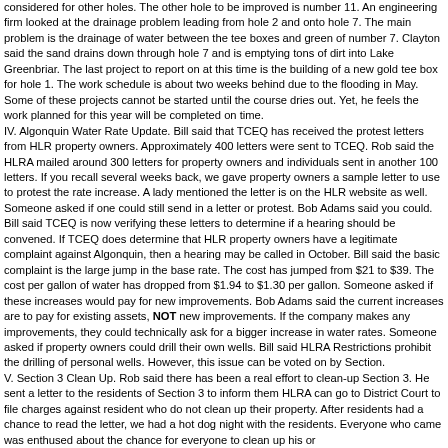considered for other holes. The other hole to be improved is number 11. An engineering firm looked at the drainage problem leading from hole 2 and onto hole 7. The main problem is the drainage of water between the tee boxes and green of number 7. Clayton said the sand drains down through hole 7 and is emptying tons of dirt into Lake Greenbriar. The last project to report on at this time is the building of a new gold tee box for hole 1. The work schedule is about two weeks behind due to the flooding in May. Some of these projects cannot be started until the course dries out. Yet, he feels the work planned for this year will be completed on time.
IV. Algonquin Water Rate Update. Bill said that TCEQ has received the protest letters from HLR property owners. Approximately 400 letters were sent to TCEQ. Rob said the HLRA mailed around 300 letters for property owners and individuals sent in another 100 letters. If you recall several weeks back, we gave property owners a sample letter to use to protest the rate increase. A lady mentioned the letter is on the HLR website as well. Someone asked if one could still send in a letter or protest. Bob Adams said you could. Bill said TCEQ is now verifying these letters to determine if a hearing should be convened. If TCEQ does determine that HLR property owners have a legitimate complaint against Algonquin, then a hearing may be called in October. Bill said the basic complaint is the large jump in the base rate. The cost has jumped from $21 to $39. The cost per gallon of water has dropped from $1.94 to $1.30 per gallon. Someone asked if these increases would pay for new improvements. Bob Adams said the current increases are to pay for existing assets, NOT new improvements. If the company makes any improvements, they could technically ask for a bigger increase in water rates. Someone asked if property owners could drill their own wells. Bill said HLRA Restrictions prohibit the drilling of personal wells. However, this issue can be voted on by Section.
V. Section 3 Clean Up. Rob said there has been a real effort to clean-up Section 3. He sent a letter to the residents of Section 3 to inform them HLRA can go to District Court to file charges against resident who do not clean up their property. After residents had a chance to read the letter, we had a hot dog night with the residents. Everyone who came was enthused about the chance for everyone to clean up his or